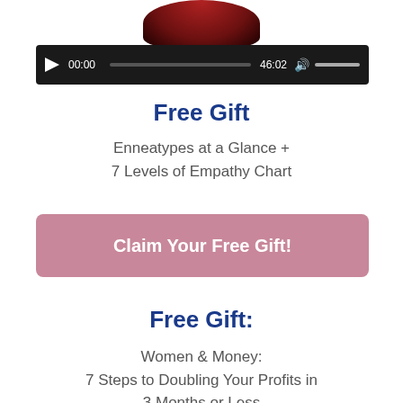[Figure (screenshot): Partial view of a person image at top (red/dark tones), cropped]
[Figure (screenshot): Audio player bar with play button, timestamp 00:00, progress bar, 46:02 end time, speaker icon and volume slider]
Free Gift
Enneatypes at a Glance +
7 Levels of Empathy Chart
Claim Your Free Gift!
Free Gift:
Women & Money:
7 Steps to Doubling Your Profits in
3 Months or Less